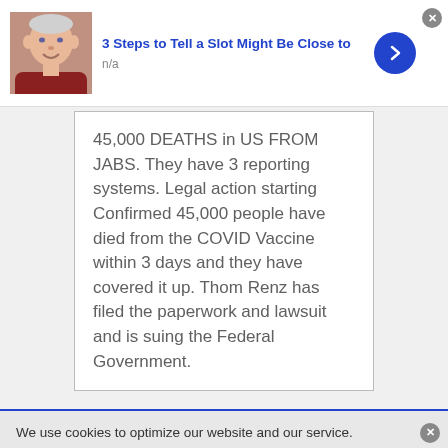[Figure (photo): Older man in dark red shirt - advertisement thumbnail]
3 Steps to Tell a Slot Might Be Close to
n/a
45,000 DEATHS in US FROM JABS. They have 3 reporting systems. Legal action starting Confirmed 45,000 people have died from the COVID Vaccine within 3 days and they have covered it up. Thom Renz has filed the paperwork and lawsuit and is suing the Federal Government.
We use cookies to optimize our website and our service.
[Figure (photo): Man in light blue shirt - casino advertisement thumbnail]
Casinos Don't Expect You to Do This; but
n/a